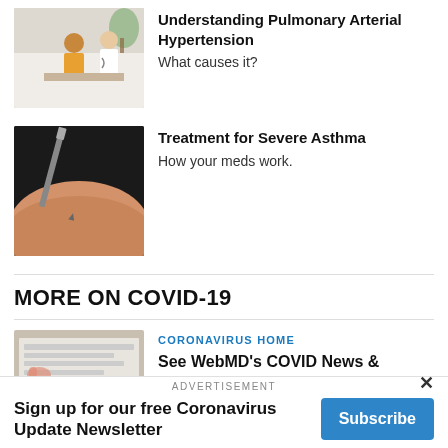[Figure (photo): Doctor consulting with patient in medical office]
Understanding Pulmonary Arterial Hypertension
What causes it?
[Figure (photo): Injection needle going into skin]
Treatment for Severe Asthma
How your meds work.
MORE ON COVID-19
[Figure (photo): Newspaper with the word Coronavirus printed on it]
CORONAVIRUS HOME
See WebMD's COVID News & Resources
ADVERTISEMENT
Sign up for our free Coronavirus Update Newsletter